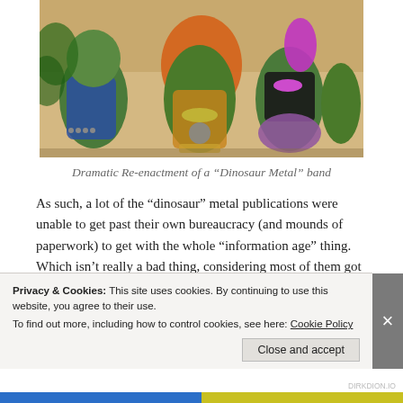[Figure (photo): Photo of puppet/costume dinosaur characters dressed in metal band outfits — colorful costumes with studded accessories, orange shaggy hair, and elaborate decorations, posing together as a band.]
Dramatic Re-enactment of a “Dinosaur Metal” band
As such, a lot of the “dinosaur” metal publications were unable to get past their own bureaucracy (and mounds of paperwork) to get with the whole “information age” thing. Which isn’t really a bad thing, considering most of them got so far out of touch with the metal community. I’m really not sure how they kept going (Well, yes I am.
Privacy & Cookies: This site uses cookies. By continuing to use this website, you agree to their use.
To find out more, including how to control cookies, see here: Cookie Policy